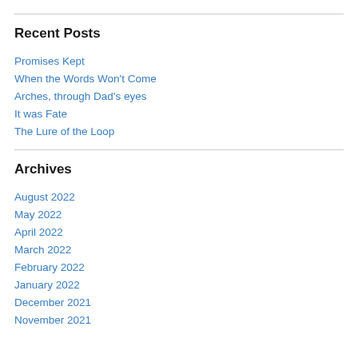Recent Posts
Promises Kept
When the Words Won't Come
Arches, through Dad's eyes
It was Fate
The Lure of the Loop
Archives
August 2022
May 2022
April 2022
March 2022
February 2022
January 2022
December 2021
November 2021